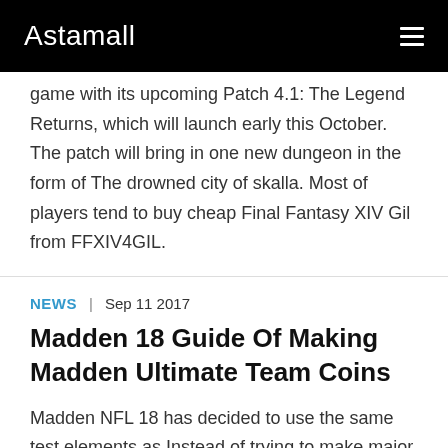Astamall
game with its upcoming Patch 4.1: The Legend Returns, which will launch early this October. The patch will bring in one new dungeon in the form of The drowned city of skalla. Most of players tend to buy cheap Final Fantasy XIV Gil from FFXIV4GIL.
News  |  Sep 11 2017
Madden 18 Guide Of Making Madden Ultimate Team Coins
Madden NFL 18 has decided to use the same test elements as Instead of trying to make major changes to the gameplay. The Longshot story mode is also partly a part that may not be